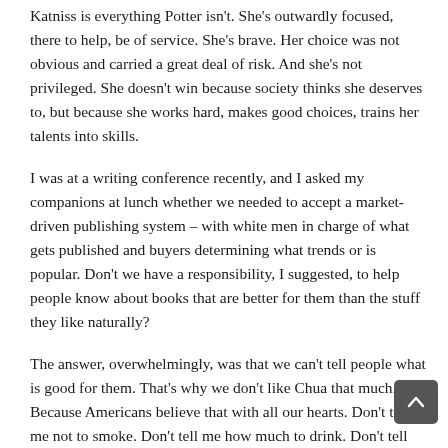Katniss is everything Potter isn't. She's outwardly focused, there to help, be of service. She's brave. Her choice was not obvious and carried a great deal of risk. And she's not privileged. She doesn't win because society thinks she deserves to, but because she works hard, makes good choices, trains her talents into skills.
I was at a writing conference recently, and I asked my companions at lunch whether we needed to accept a market-driven publishing system – with white men in charge of what gets published and buyers determining what trends or is popular. Don't we have a responsibility, I suggested, to help people know about books that are better for them than the stuff they like naturally?
The answer, overwhelmingly, was that we can't tell people what is good for them. That's why we don't like Chua that much. Because Americans believe that with all our hearts. Don't tell me not to smoke. Don't tell me how much to drink. Don't tell me to lose weight and exercise.
But I beg to differ. We can and must tell people what is good fo...